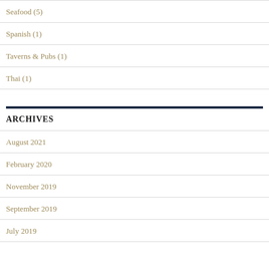Seafood (5)
Spanish (1)
Taverns & Pubs (1)
Thai (1)
ARCHIVES
August 2021
February 2020
November 2019
September 2019
July 2019